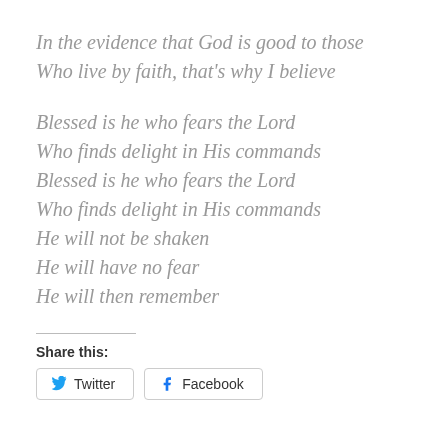In the evidence that God is good to those
Who live by faith, that's why I believe
Blessed is he who fears the Lord
Who finds delight in His commands
Blessed is he who fears the Lord
Who finds delight in His commands
He will not be shaken
He will have no fear
He will then remember
Share this:
Twitter  Facebook